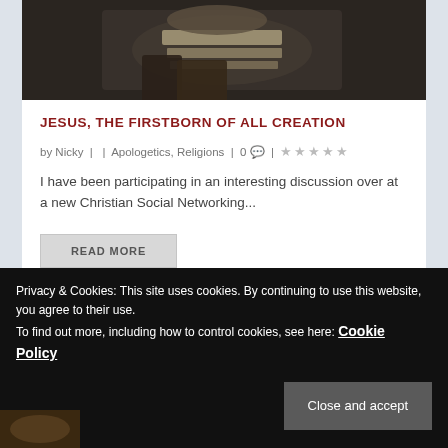[Figure (photo): Dark photo of a person reading a book, viewed from above, dimly lit]
JESUS, THE FIRSTBORN OF ALL CREATION
by Nicky |  | Apologetics, Religions | 0 | ★★★★★
I have been participating in an interesting discussion over at a new Christian Social Networking...
READ MORE
Privacy & Cookies: This site uses cookies. By continuing to use this website, you agree to their use.
To find out more, including how to control cookies, see here: Cookie Policy
Close and accept